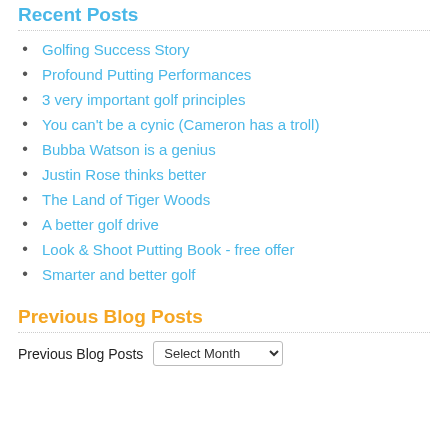Recent Posts
Golfing Success Story
Profound Putting Performances
3 very important golf principles
You can't be a cynic (Cameron has a troll)
Bubba Watson is a genius
Justin Rose thinks better
The Land of Tiger Woods
A better golf drive
Look & Shoot Putting Book - free offer
Smarter and better golf
Previous Blog Posts
Previous Blog Posts  Select Month